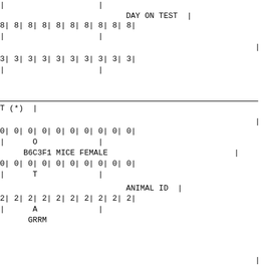DAY ON TEST  |
8| 8| 8| 8| 8| 8| 8| 8| 8| 8|
|                    |
|
3| 3| 3| 3| 3| 3| 3| 3| 3| 3|
|                    |
T (*)  |
|
0| 0| 0| 0| 0| 0| 0| 0| 0| 0|
|      O             |
B6C3F1 MICE FEMALE                           |
0| 0| 0| 0| 0| 0| 0| 0| 0| 0|
|      T             |
ANIMAL ID  |
2| 2| 2| 2| 2| 2| 2| 2| 2| 2|
|      A             |
GRRM